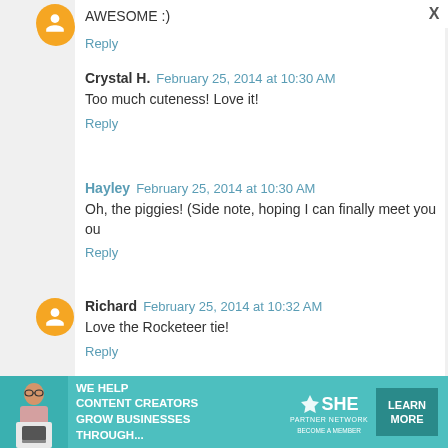AWESOME :)
Reply
Crystal H. February 25, 2014 at 10:30 AM
Too much cuteness! Love it!
Reply
Hayley February 25, 2014 at 10:30 AM
Oh, the piggies! (Side note, hoping I can finally meet you ou
Reply
Richard February 25, 2014 at 10:32 AM
Love the Rocketeer tie!
Reply
Amanda H. February 25, 2014 at 10:32 AM
[Figure (infographic): SHE Partner Network advertisement banner: photo of woman with laptop, text 'We help content creators grow businesses through...', SHE Partner Network logo, and a 'Learn More / Become a Member' button.]